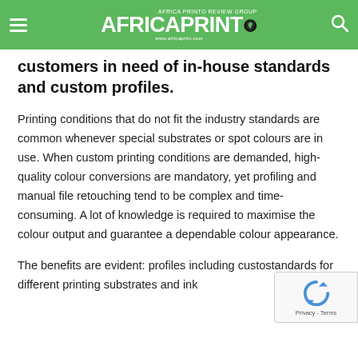AFRICA PRINTO
customers in need of in-house standards and custom profiles.
Printing conditions that do not fit the industry standards are common whenever special substrates or spot colours are in use. When custom printing conditions are demanded, high-quality colour conversions are mandatory, yet profiling and manual file retouching tend to be complex and time-consuming. A lot of knowledge is required to maximise the colour output and guarantee a dependable colour appearance.
The benefits are evident: profiles including custo... standards for different printing substrates and ink